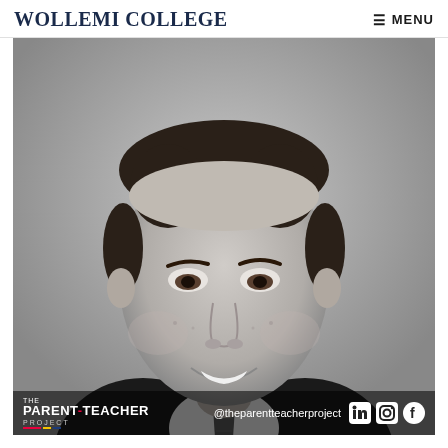WOLLEMI COLLEGE   ≡ MENU
[Figure (photo): Black and white headshot portrait of a smiling young man in a dark suit jacket, white dress shirt, and striped tie. Professional photo with plain grey background. Overlay at bottom shows The Parent-Teacher Project logo and @theparentteacherproject social media handle with LinkedIn, Instagram, and Facebook icons.]